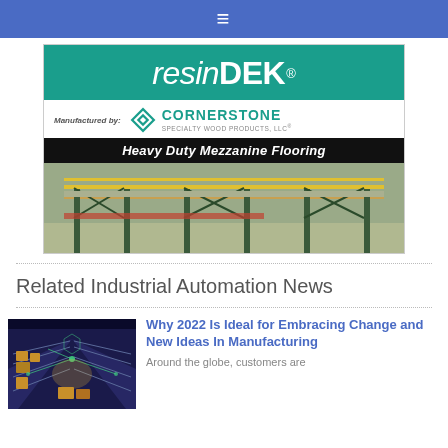≡
[Figure (logo): ResinDEK advertisement - Heavy Duty Mezzanine Flooring by Cornerstone Specialty Wood Products LLC. Shows logo in teal background, Manufactured by Cornerstone logo, black banner with italic text 'Heavy Duty Mezzanine Flooring', and photo of mezzanine flooring in warehouse.]
Related Industrial Automation News
[Figure (photo): Warehouse interior with shelving racks and glowing digital overlay effects, blue/orange tones]
Why 2022 Is Ideal for Embracing Change and New Ideas In Manufacturing
Around the globe, customers are